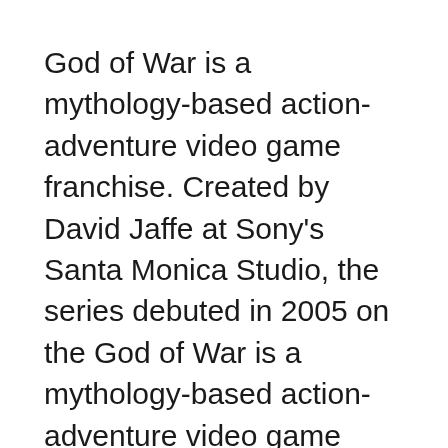God of War is a mythology-based action-adventure video game franchise. Created by David Jaffe at Sony's Santa Monica Studio, the series debuted in 2005 on the God of War is a mythology-based action-adventure video game franchise. Created by David Jaffe at Sony's Santa Monica Studio, the series debuted in 2005 on the
This is a God of War 4 Wiki and Strategy Guide page containing walkthroughs, strategy guides, tips and tricks for the new action adventure game developed by SIE Santa Monica Studio and published by Sony Entertainment Interactive for the PlayStation 4. God of